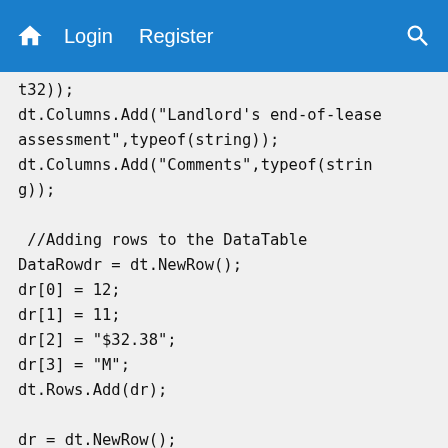Login  Register
t32));
dt.Columns.Add("Landlord's end-of-lease assessment",typeof(string));
dt.Columns.Add("Comments",typeof(string));

 //Adding rows to the DataTable
DataRowdr = dt.NewRow();
dr[0] = 12;
dr[1] = 11;
dr[2] = "$32.38";
dr[3] = "M";
dt.Rows.Add(dr);

dr = dt.NewRow();
dr[0] = 22;
dr[1] = 22;